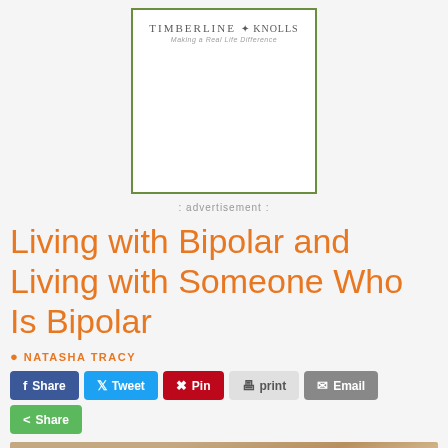[Figure (logo): Timberline Knolls advertisement box with logo and tagline 'Making a Real Life Difference']
advertisement
Living with Bipolar and Living with Someone Who Is Bipolar
NATASHA TRACY
Share  Tweet  Pin  print  Email  Share
[Figure (photo): Partial photo of a person with blonde hair, cropped at the shoulders]